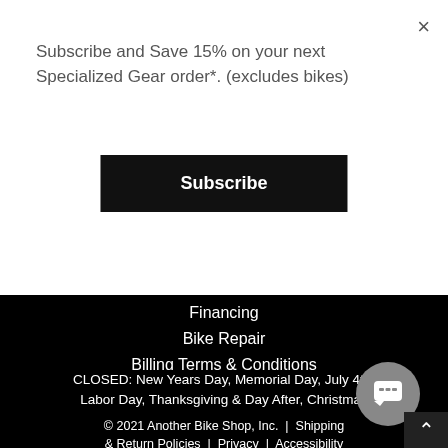Subscribe and Save 15% on your next Specialized Gear order*. (excludes bikes)
Subscribe
Financing
Bike Repair
Billing Terms & Conditions
CLOSED: New Years Day, Memorial Day, July 4th, Labor Day, Thanksgiving & Day After, Christmas
© 2021 Another Bike Shop, Inc.  |  Shipping & Return Policies  |  Privacy  |  Accessibility